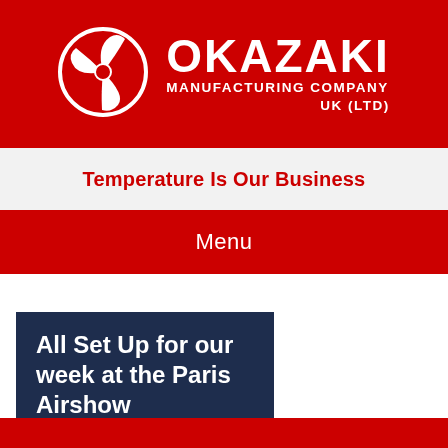[Figure (logo): Okazaki Manufacturing Company UK (Ltd) logo — red banner with white circular three-blade turbine logo and bold white company name text]
Temperature Is Our Business
Menu
All Set Up for our week at the Paris Airshow